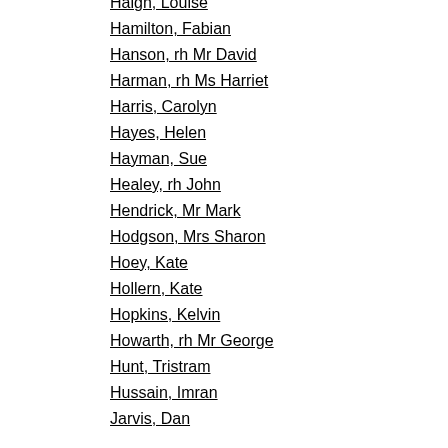Haigh, Louise
Hamilton, Fabian
Hanson, rh Mr David
Harman, rh Ms Harriet
Harris, Carolyn
Hayes, Helen
Hayman, Sue
Healey, rh John
Hendrick, Mr Mark
Hodgson, Mrs Sharon
Hoey, Kate
Hollern, Kate
Hopkins, Kelvin
Howarth, rh Mr George
Hunt, Tristram
Hussain, Imran
Jarvis, Dan